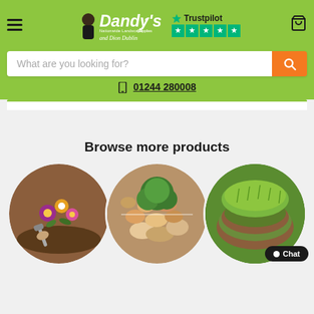[Figure (screenshot): Dandy's Nationwide Landscape Supplies website header with logo featuring Dion Dublin, Trustpilot 5-star rating, hamburger menu, cart icon, search bar with orange search button, phone number 01244 280008, and product category images]
Browse more products
[Figure (photo): Three circular product category images: gardening/plants, decorative stones/gravel, and rolled turf/lawn]
Chat